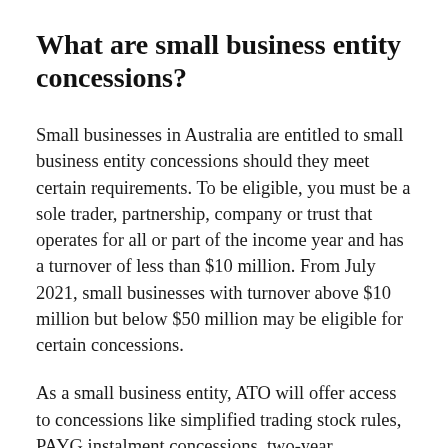What are small business entity concessions?
Small businesses in Australia are entitled to small business entity concessions should they meet certain requirements. To be eligible, you must be a sole trader, partnership, company or trust that operates for all or part of the income year and has a turnover of less than $10 million. From July 2021, small businesses with turnover above $10 million but below $50 million may be eligible for certain concessions.
As a small business entity, ATO will offer access to concessions like simplified trading stock rules, PAYG instalment concessions, two-year amendment